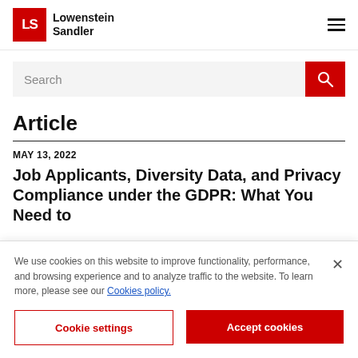Lowenstein Sandler
[Figure (screenshot): Search bar with red search button]
Article
MAY 13, 2022
Job Applicants, Diversity Data, and Privacy Compliance under the GDPR: What You Need to
We use cookies on this website to improve functionality, performance, and browsing experience and to analyze traffic to the website. To learn more, please see our Cookies policy.
Cookie settings | Accept cookies